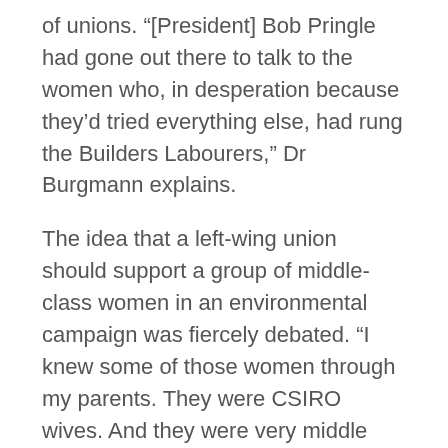of unions. “[President] Bob Pringle had gone out there to talk to the women who, in desperation because they’d tried everything else, had rung the Builders Labourers,” Dr Burgmann explains.
The idea that a left-wing union should support a group of middle-class women in an environmental campaign was fiercely debated. “I knew some of those women through my parents. They were CSIRO wives. And they were very middle class, Hunters Hill ladies,” Dr Burgmann smiles. “They’re the first to say what a strange combination they were.”
Pringle, and later Jack Cambourne, who was